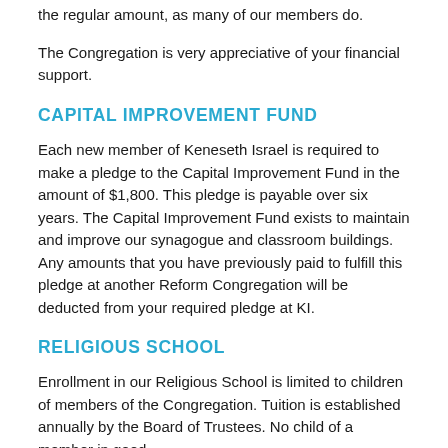the regular amount, as many of our members do.
The Congregation is very appreciative of your financial support.
CAPITAL IMPROVEMENT FUND
Each new member of Keneseth Israel is required to make a pledge to the Capital Improvement Fund in the amount of $1,800. This pledge is payable over six years. The Capital Improvement Fund exists to maintain and improve our synagogue and classroom buildings. Any amounts that you have previously paid to fulfill this pledge at another Reform Congregation will be deducted from your required pledge at KI.
RELIGIOUS SCHOOL
Enrollment in our Religious School is limited to children of members of the Congregation. Tuition is established annually by the Board of Trustees. No child of a member in good